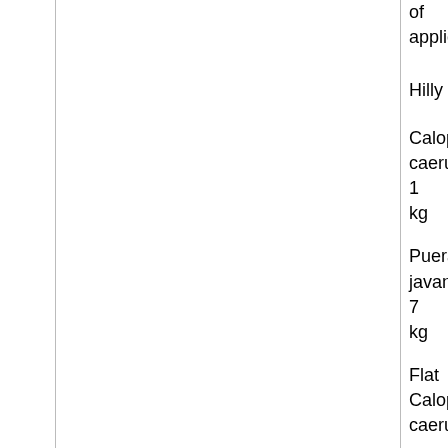|  | of
application/ha |
|  | Hilly |
|  | Calopogonium caeruleum
1
kg |
|  | Pueraria javanica
7
kg |
|  | Flat
Calopogonium caeruleum |
|  | Pueraria javanica |
|  | Undulating |